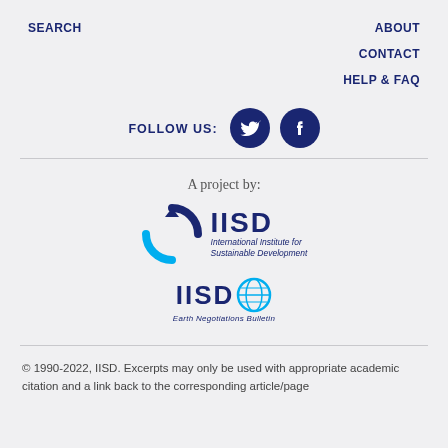SEARCH | ABOUT | CONTACT | HELP & FAQ
FOLLOW US:
[Figure (logo): Twitter and Facebook social media icons (dark navy circles with white bird and f logos)]
A project by:
[Figure (logo): IISD logo - circular arrow icon in navy/cyan with text 'IISD' and 'International Institute for Sustainable Development']
[Figure (logo): IISD Earth Negotiations Bulletin logo - 'IISD' text with globe icon and 'Earth Negotiations Bulletin' subtitle]
© 1990-2022, IISD. Excerpts may only be used with appropriate academic citation and a link back to the corresponding article/page